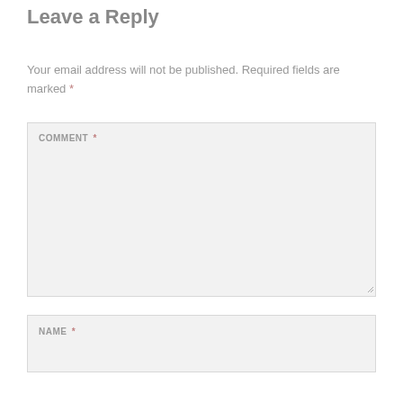Leave a Reply
Your email address will not be published. Required fields are marked *
COMMENT *
NAME *